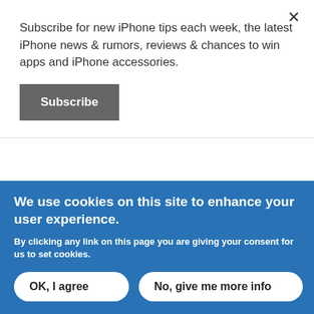Subscribe for new iPhone tips each week, the latest iPhone news & rumors, reviews & chances to win apps and iPhone accessories.
Subscribe
cool site, you don't have to sign up for anything!
Anonymous replied on August 4, 2012 -
We use cookies on this site to enhance your user experience.
By clicking any link on this page you are giving your consent for us to set cookies.
OK, I agree
No, give me more info